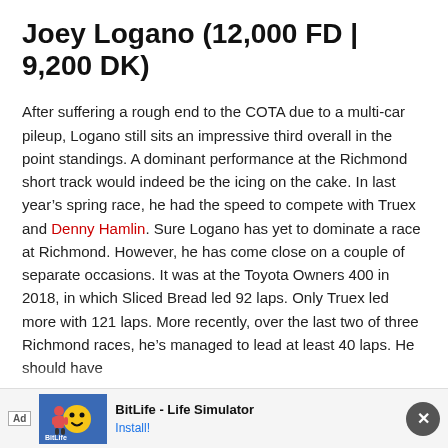Joey Logano (12,000 FD | 9,200 DK)
After suffering a rough end to the COTA due to a multi-car pileup, Logano still sits an impressive third overall in the point standings. A dominant performance at the Richmond short track would indeed be the icing on the cake. In last year's spring race, he had the speed to compete with Truex and Denny Hamlin. Sure Logano has yet to dominate a race at Richmond. However, he has come close on a couple of separate occasions. It was at the Toyota Owners 400 in 2018, in which Sliced Bread led 92 laps. Only Truex led more with 121 laps. More recently, over the last two of three Richmond races, he's managed to lead at least 40 laps. He should have
[Figure (screenshot): Advertisement banner for BitLife - Life Simulator app with install button]